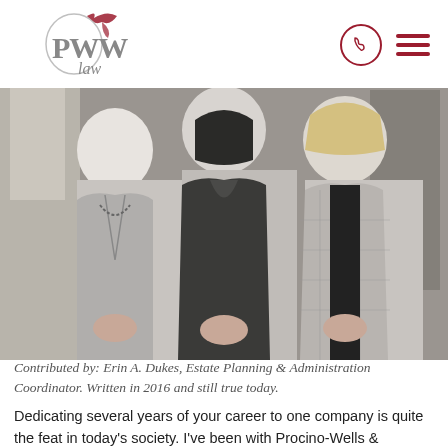PWW law
[Figure (photo): Three women in professional attire (grey blazers and jackets) standing together in an office setting, hands clasped in front of them.]
Contributed by: Erin A. Dukes, Estate Planning & Administration Coordinator. Written in 2016 and still true today.
Dedicating several years of your career to one company is quite the feat in today's society. I've been with Procino-Wells & Woodland, LLC for ten years now